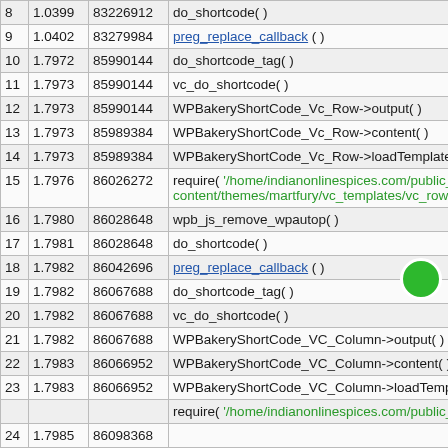| # | Time | Memory | Function |
| --- | --- | --- | --- |
| 8 | 1.0399 | 83226912 | do_shortcode( ) |
| 9 | 1.0402 | 83279984 | preg_replace_callback ( ) |
| 10 | 1.7972 | 85990144 | do_shortcode_tag( ) |
| 11 | 1.7973 | 85990144 | vc_do_shortcode( ) |
| 12 | 1.7973 | 85990144 | WPBakeryShortCode_Vc_Row->output( ) |
| 13 | 1.7973 | 85989384 | WPBakeryShortCode_Vc_Row->content( ) |
| 14 | 1.7973 | 85989384 | WPBakeryShortCode_Vc_Row->loadTemplate( ) |
| 15 | 1.7976 | 86026272 | require( '/home/indianonlinespices.com/public_ht content/themes/martfury/vc_templates/vc_row.ph |
| 16 | 1.7980 | 86028648 | wpb_js_remove_wpautop( ) |
| 17 | 1.7981 | 86028648 | do_shortcode( ) |
| 18 | 1.7982 | 86042696 | preg_replace_callback ( ) |
| 19 | 1.7982 | 86067688 | do_shortcode_tag( ) |
| 20 | 1.7982 | 86067688 | vc_do_shortcode( ) |
| 21 | 1.7982 | 86067688 | WPBakeryShortCode_VC_Column->output( ) |
| 22 | 1.7983 | 86066952 | WPBakeryShortCode_VC_Column->content( ) |
| 23 | 1.7983 | 86066952 | WPBakeryShortCode_VC_Column->loadTemplate( ) |
| 24 | 1.7985 | 86098368 | require( '/home/indianonlinespices.com/public_ht |